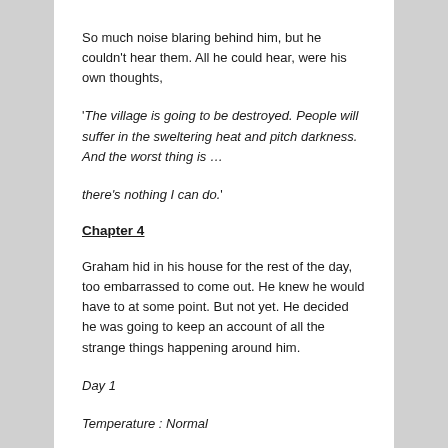So much noise blaring behind him, but he couldn't hear them. All he could hear, were his own thoughts,
'The village is going to be destroyed. People will suffer in the sweltering heat and pitch darkness. And the worst thing is …
there's nothing I can do.'
Chapter 4
Graham hid in his house for the rest of the day, too embarrassed to come out. He knew he would have to at some point. But not yet. He decided he was going to keep an account of all the strange things happening around him.
Day 1
Temperature : Normal